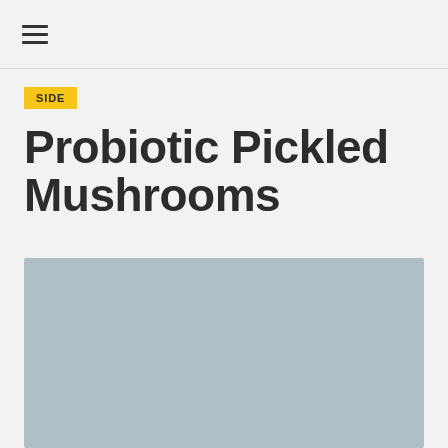☰
SIDE
Probiotic Pickled Mushrooms
[Figure (photo): Photo of probiotic pickled mushrooms — a muted blue-grey background image, partially visible, appearing to show a food scene.]